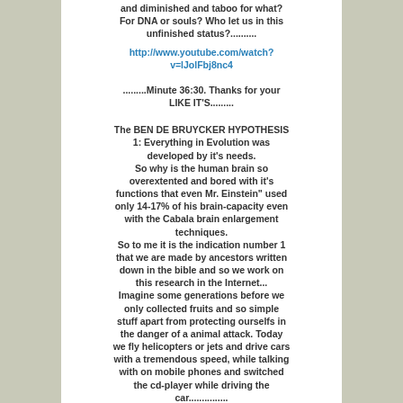and diminished and taboo for what? For DNA or souls? Who let us in this unfinished status?..........
http://www.youtube.com/watch?v=lJolFbj8nc4
.........Minute 36:30. Thanks for your LIKE IT'S.........
The BEN DE BRUYCKER HYPOTHESIS 1: Everything in Evolution was developed by it's needs. So why is the human brain so overextented and bored with it's functions that even Mr. Einstein" used only 14-17% of his brain-capacity even with the Cabala brain enlargement techniques. So to me it is the indication number 1 that we are made by ancestors written down in the bible and so we work on this research in the Internet... Imagine some generations before we only collected fruits and so simple stuff apart from protecting ourselfs in the danger of a animal attack. Today we fly helicopters or jets and drive cars with a tremendous speed, while talking with on mobile phones and switched the cd-player while driving the car...............